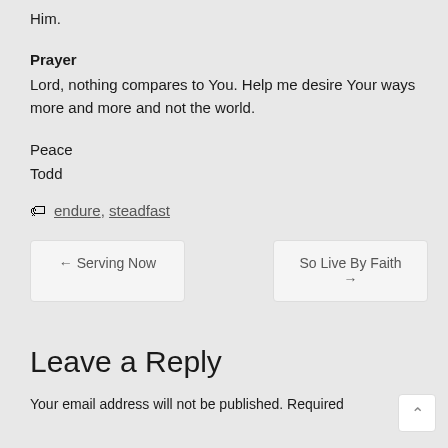Him.
Prayer
Lord, nothing compares to You. Help me desire Your ways more and more and not the world.
Peace
Todd
🏷 endure, steadfast
← Serving Now    So Live By Faith →
Leave a Reply
Your email address will not be published. Required fields are marked *